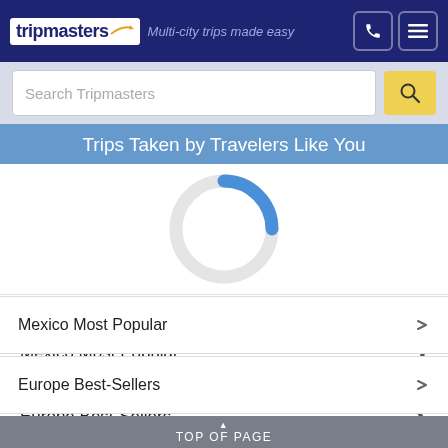[Figure (logo): Tripmasters logo with tagline 'Multi-city trips made easy' on dark navy header with phone and menu icons]
Search Tripmasters
Trips Taken by Travelers Like You
[Figure (infographic): Loading spinner - circular spinner with blue arc on top, gray arc on bottom/sides]
Mexico Most Popular
Europe Best-Sellers
TOP OF PAGE